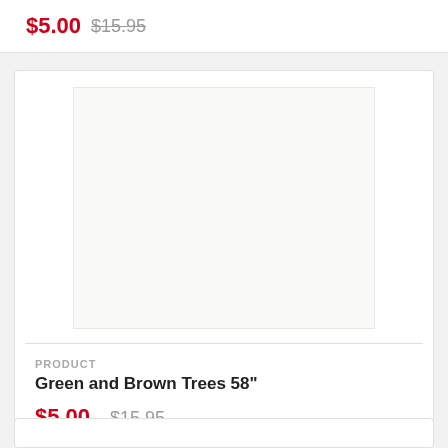$5.00 $15.95
[Figure (illustration): Fabric swatch with repeating green stylized tree pattern on white background, with a single brown tree icon in the center.]
PRODUCT
Green and Brown Trees 58"
$5.00 $15.95